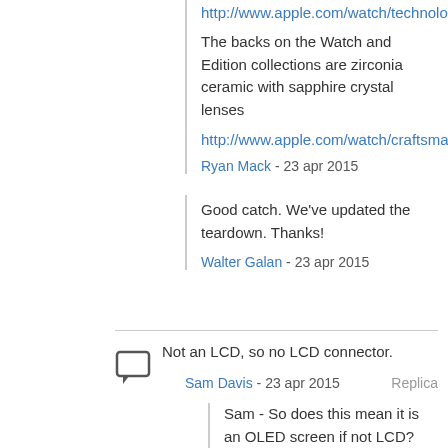http://www.apple.com/watch/technology/
The backs on the Watch and Edition collections are zirconia ceramic with sapphire crystal lenses
http://www.apple.com/watch/craftsmanship...
Ryan Mack - 23 apr 2015
Good catch. We've updated the teardown. Thanks!
Walter Galan - 23 apr 2015
Not an LCD, so no LCD connector.
Sam Davis - 23 apr 2015
Sam - So does this mean it is an OLED screen if not LCD?
randallhlee - 23 apr 2015